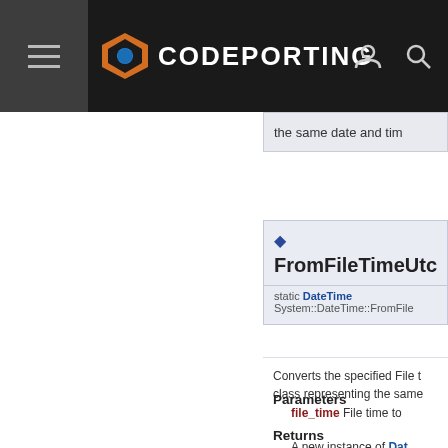CODEPORTING
the same date and tim
FromFileTimeUtc()
static DateTime System::DateTime::FromFile
Converts the specified File t... class representing the same
Parameters
file_time File time to
Returns
A new instance of Dat... same date and time a